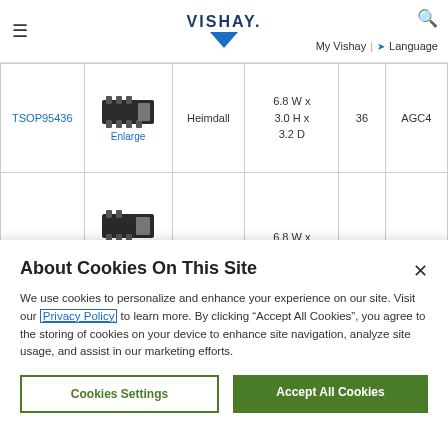VISHAY. | My Vishay | Language
| Part | Image | Series | Dimensions | Num | Code |
| --- | --- | --- | --- | --- | --- |
| TSOP95436 | [image] | Heimdall | 6.8 W x 3.0 H x 3.2 D | 36 | AGC4 |
|  | [image] |  | 6.8 W x |  |  |
About Cookies On This Site
We use cookies to personalize and enhance your experience on our site. Visit our Privacy Policy to learn more. By clicking “Accept All Cookies”, you agree to the storing of cookies on your device to enhance site navigation, analyze site usage, and assist in our marketing efforts.
Cookies Settings | Accept All Cookies